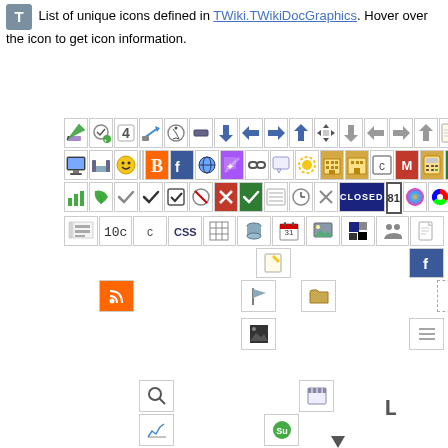List of unique icons defined in TWiki.TWikiDocGraphics. Hover over the icon to get icon information.
[Figure (infographic): A large grid of small icons/graphics from the TWiki documentation icon set, displayed in rows with various categories including arrows, document types, UI elements, and social media icons. Icons are scattered at various positions across the lower portion of the page.]